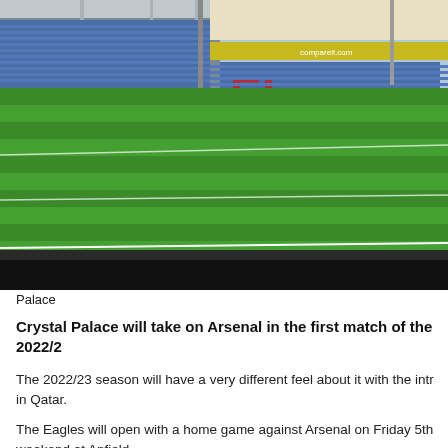[Figure (photo): Crystal Palace football stadium interior showing the pitch and blue seating stands with advertising hoardings]
Palace
Crystal Palace will take on Arsenal in the first match of the 2022/2
The 2022/23 season will have a very different feel about it with the intr in Qatar.
The Eagles will open with a home game against Arsenal on Friday 5th weekend at Anfield.